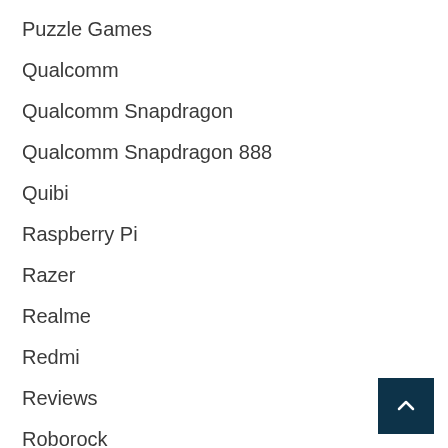Puzzle Games
Qualcomm
Qualcomm Snapdragon
Qualcomm Snapdragon 888
Quibi
Raspberry Pi
Razer
Realme
Redmi
Reviews
Roborock
robot vacuum
Rob...